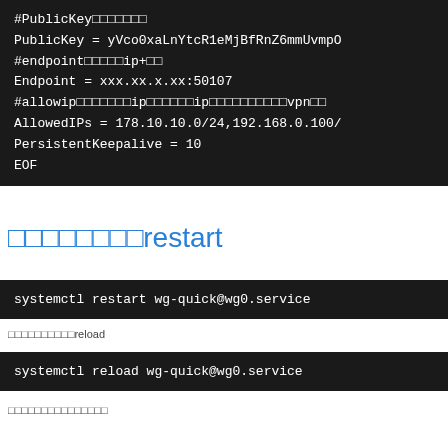#PublicKey□□□□□□□
PublicKey = yVco0xaLnYtcR1eMjBfRnZ6mmUvmpO
#endpoint□□□□□□ip+□□
Endpoint = xxx.xx.x.xx:50107
#allowip□□□□□□□ip□□□□□□ip□□□□□□□□□□□□vpn□□
AllowedIPs = 178.10.10.0/24,192.168.0.100/
PersistentKeepalive = 10
EOF
□□□□□□□□restart
systemctl restart wg-quick@wg0.service
□□□□□□□□□□reload
systemctl reload wg-quick@wg0.service
□□□□□□□□□□□□□□□